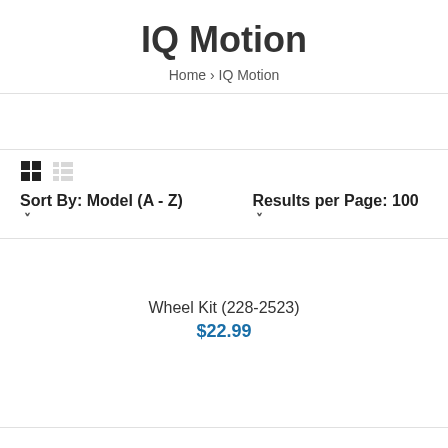IQ Motion
Home › IQ Motion
Sort By: Model (A - Z) ▾    Results per Page: 100 ▾
Wheel Kit (228-2523)
$22.99